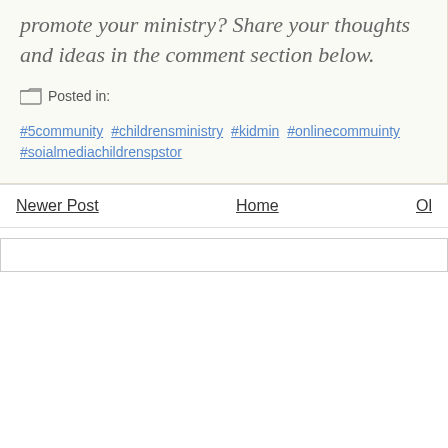promote your ministry? Share your thoughts and ideas in the comment section below.
Posted in:
#5community #childrensministry #kidmin #onlinecommuinty #soialmediachildrenspstor
Newer Post   Home   Ol